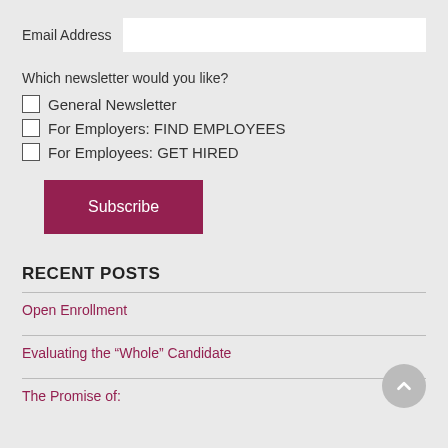Email Address
Which newsletter would you like?
General Newsletter
For Employers: FIND EMPLOYEES
For Employees: GET HIRED
Subscribe
RECENT POSTS
Open Enrollment
Evaluating the “Whole” Candidate
The Promise of: